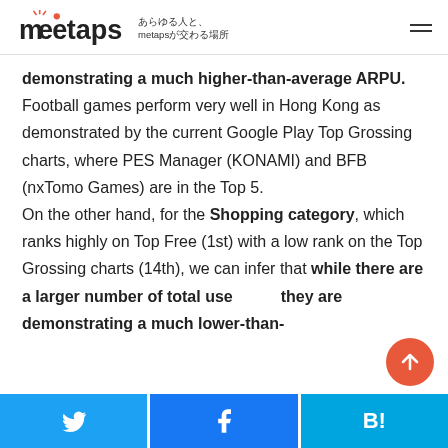meetaps あらゆる人と、metapsが交わる場所
demonstrating a much higher-than-average ARPU. Football games perform very well in Hong Kong as demonstrated by the current Google Play Top Grossing charts, where PES Manager (KONAMI) and BFB (nxTomo Games) are in the Top 5.

On the other hand, for the Shopping category, which ranks highly on Top Free (1st) with a low rank on the Top Grossing charts (14th), we can infer that while there are a larger number of total users, they are demonstrating a much lower-than-
Twitter | Facebook | Hatena Bookmark